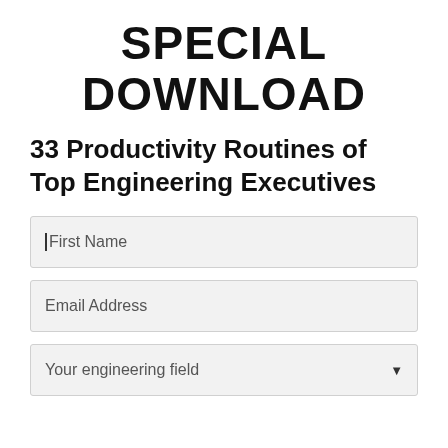SPECIAL DOWNLOAD
33 Productivity Routines of Top Engineering Executives
First Name
Email Address
Your engineering field